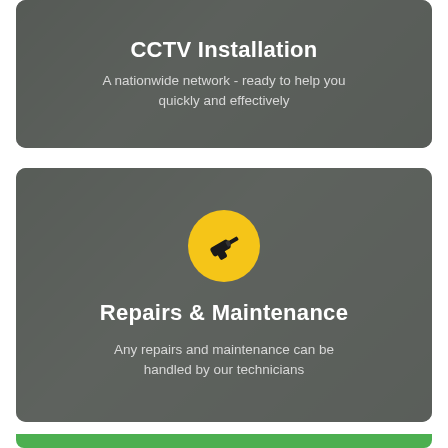[Figure (infographic): CCTV Installation card with dark gray background showing a CCTV camera]
CCTV Installation
A nationwide network - ready to help you quickly and effectively
[Figure (infographic): Repairs & Maintenance card with dark gray background, yellow circle icon with drill, and a technician working]
Repairs & Maintenance
Any repairs and maintenance can be handled by our technicians